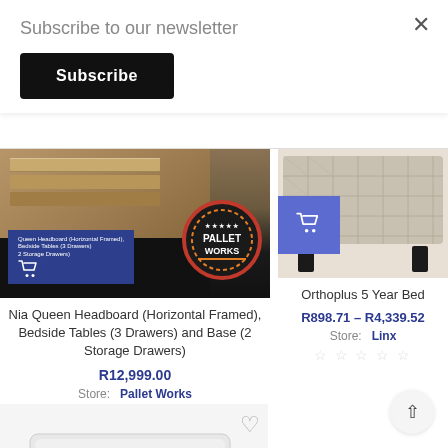Subscribe to our newsletter
Subscribe
[Figure (photo): Pallet Works product image showing wooden pallet furniture with Pallet Works circular badge logo]
Nia Queen Headboard (Horizontal Framed), Bedside Tables (3 Drawers) and Base (2 Storage Drawers)
R12,999.00
Store: Pallet Works
★★★★★
[Figure (photo): Orthoplus 5 Year Bed - grey quilted upholstered bed headboard on white background]
Orthoplus 5 Year Bed
R898.71 – R4,339.52
Store: Linx
★★★★★
[Figure (photo): White mattress product photo, partially visible at bottom of page]